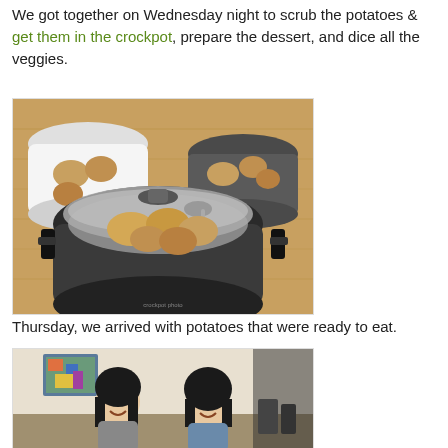We got together on Wednesday night to scrub the potatoes & get them in the crockpot, prepare the dessert, and dice all the veggies.
[Figure (photo): Two crockpots on a wooden surface, one open showing potatoes inside with a spoon on the lid, another smaller crockpot with lid ajar in the background]
Thursday, we arrived with potatoes that were ready to eat.
[Figure (photo): Two women standing together smiling in a room with a colorful painting on the wall behind them]